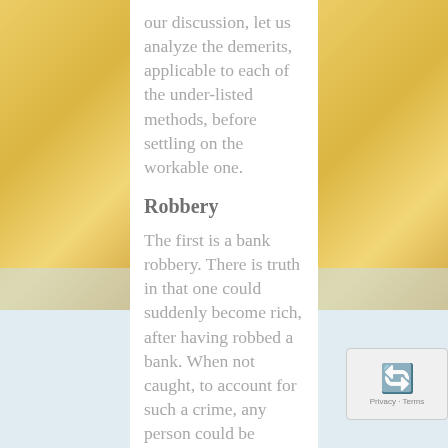our discussion, let us analyze the demerits, applicable to each of the under-listed methods, before settling on the workable one.
Robbery
The first is a bank robbery. There is truth in that one could suddenly become rich, after having robbed a bank. When not caught, to account for such a crime, any person could be